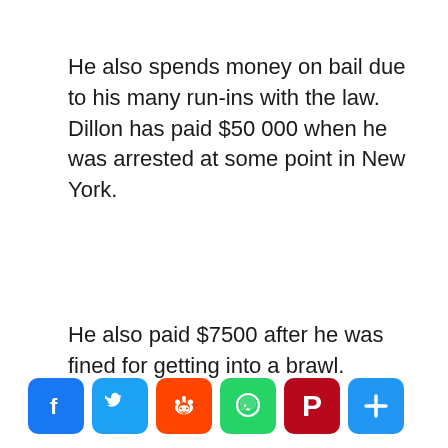He also spends money on bail due to his many run-ins with the law. Dillon has paid $50 000 when he was arrested at some point in New York.
He also paid $7500 after he was fined for getting into a brawl.
[Figure (infographic): Social media share buttons: Facebook, Twitter, Reddit, WhatsApp, Pinterest, Share (plus icon)]